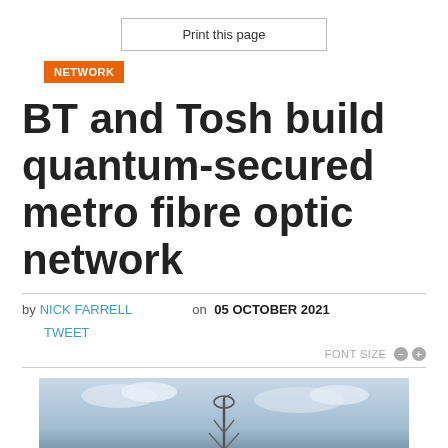Print this page
NETWORK
BT and Tosh build quantum-secured metro fibre optic network
by NICK FARRELL on 05 OCTOBER 2021
TWEET
FONT SIZE
[Figure (photo): Photograph of a communications or satellite dish tower against a cloudy sky]